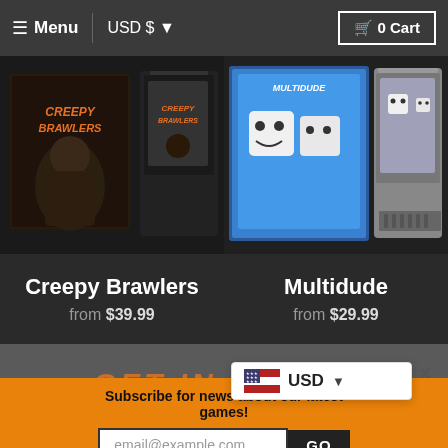≡ Menu | USD $ ▼   🛒 0 Cart
[Figure (photo): Creepy Brawlers game box art and cartridge on dark background]
[Figure (photo): Multidude game box art and NES cartridge on dark background]
Creepy Brawlers
from $39.99
Multidude
from $29.99
GET IN TOUCH
Subscribe for news about our latest games!
email@example.com
GO
USD ▼
×